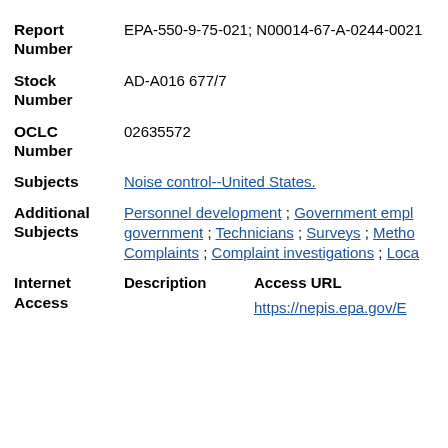Report Number: EPA-550-9-75-021; N00014-67-A-0244-0021
Stock Number: AD-A016 677/7
OCLC Number: 02635572
Subjects: Noise control--United States.
Additional Subjects: Personnel development ; Government empl... government ; Technicians ; Surveys ; Metho... Complaints ; Complaint investigations ; Loca...
Internet Access - Description / Access URL: https://nepis.epa.gov/E...